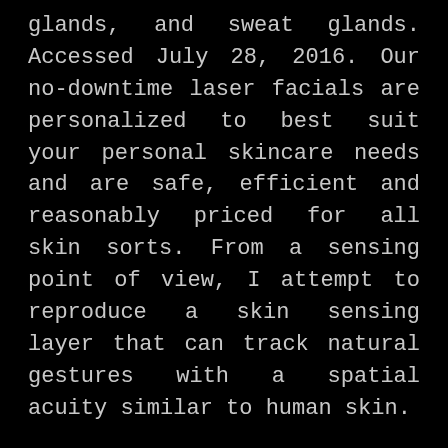glands, and sweat glands. Accessed July 28, 2016. Our no-downtime laser facials are personalized to best suit your personal skincare needs and are safe, efficient and reasonably priced for all skin sorts. From a sensing point of view, I attempt to reproduce a skin sensing layer that can track natural gestures with a spatial acuity similar to human skin.
However even right now, people with diabetes have extra bacterial infections than other people do. Docs imagine individuals with diabetes can cut back their chances of these infections by practising good skin care.